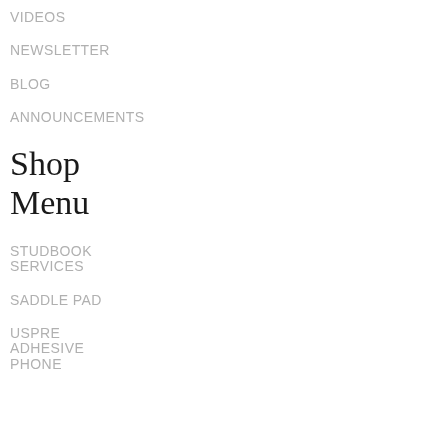VIDEOS
NEWSLETTER
BLOG
ANNOUNCEMENTS
Shop
Menu
STUDBOOK
SERVICES
SADDLE PAD
USPRE
ADHESIVE
PHONE